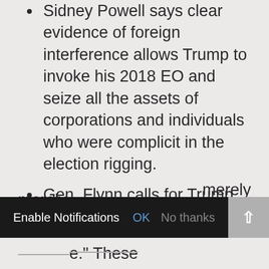Sidney Powell says clear evidence of foreign interference allows Trump to invoke his 2018 EO and seize all the assets of corporations and individuals who were complicit in the election rigging.
Gen. Flynn calls for Trump to invoke the 2018 Executive Order on foreign interference.
Military tribunals are necessary because the regular courts are not capable of sorting this out.
...merely ...e." These